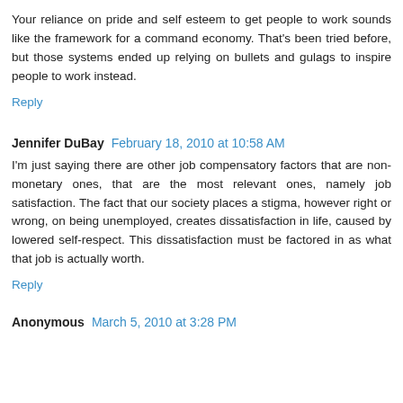Your reliance on pride and self esteem to get people to work sounds like the framework for a command economy. That's been tried before, but those systems ended up relying on bullets and gulags to inspire people to work instead.
Reply
Jennifer DuBay  February 18, 2010 at 10:58 AM
I'm just saying there are other job compensatory factors that are non-monetary ones, that are the most relevant ones, namely job satisfaction. The fact that our society places a stigma, however right or wrong, on being unemployed, creates dissatisfaction in life, caused by lowered self-respect. This dissatisfaction must be factored in as what that job is actually worth.
Reply
Anonymous  March 5, 2010 at 3:28 PM